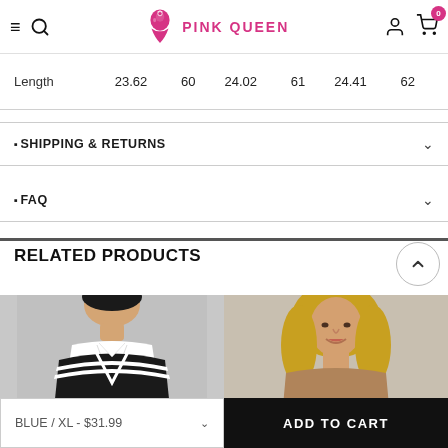PINK QUEEN
|  |  |  |  |  |  |  |
| --- | --- | --- | --- | --- | --- | --- |
| Length | 23.62 | 60 | 24.02 | 61 | 24.41 | 62 |
SHIPPING & RETURNS
FAQ
RELATED PRODUCTS
[Figure (photo): Black and white varsity V-neck sweater on model]
[Figure (photo): Female model with blonde hair wearing brown top]
BLUE / XL - $31.99
ADD TO CART